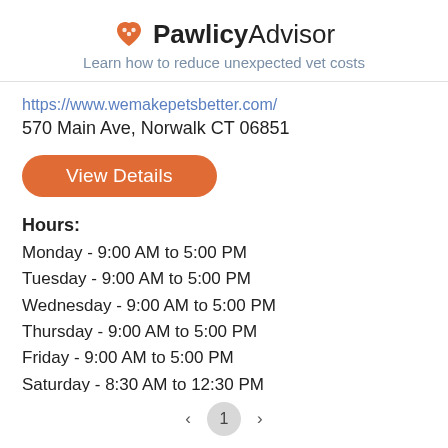PawlicyAdvisor — Learn how to reduce unexpected vet costs
https://www.wemakepetsbetter.com/
570 Main Ave, Norwalk CT 06851
View Details
Hours:
Monday - 9:00 AM to 5:00 PM
Tuesday - 9:00 AM to 5:00 PM
Wednesday - 9:00 AM to 5:00 PM
Thursday - 9:00 AM to 5:00 PM
Friday - 9:00 AM to 5:00 PM
Saturday - 8:30 AM to 12:30 PM
Sunday - Closed
< 1 >